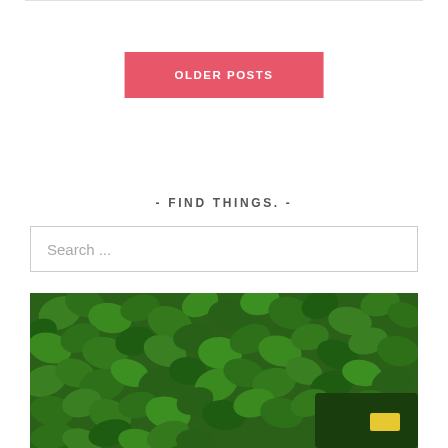OLDER POSTS
- FIND THINGS. -
Search ...
[Figure (photo): Photo of dense green ivy leaves covering a wall or surface, with what appears to be a person partially visible at the bottom right holding something yellow.]